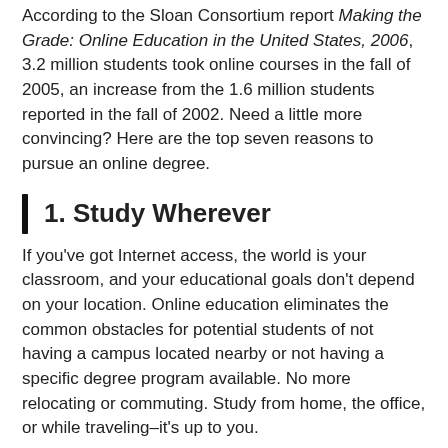According to the Sloan Consortium report Making the Grade: Online Education in the United States, 2006, 3.2 million students took online courses in the fall of 2005, an increase from the 1.6 million students reported in the fall of 2002. Need a little more convincing? Here are the top seven reasons to pursue an online degree.
1. Study Wherever
If you've got Internet access, the world is your classroom, and your educational goals don't depend on your location. Online education eliminates the common obstacles for potential students of not having a campus located nearby or not having a specific degree program available. No more relocating or commuting. Study from home, the office, or while traveling–it's up to you.
2. Study Whenever